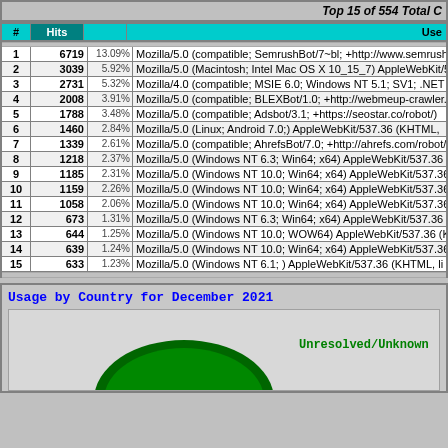Top 15 of 554 Total User Agents
| # | Hits | % | User Agent |
| --- | --- | --- | --- |
| 1 | 6719 | 13.09% | Mozilla/5.0 (compatible; SemrushBot/7~bl; +http://www.semrush.c... |
| 2 | 3039 | 5.92% | Mozilla/5.0 (Macintosh; Intel Mac OS X 10_15_7) AppleWebKit/5... |
| 3 | 2731 | 5.32% | Mozilla/4.0 (compatible; MSIE 6.0; Windows NT 5.1; SV1; .NET C... |
| 4 | 2008 | 3.91% | Mozilla/5.0 (compatible; BLEXBot/1.0; +http://webmeup-crawler.c... |
| 5 | 1788 | 3.48% | Mozilla/5.0 (compatible; Adsbot/3.1; +https://seostar.co/robot/) |
| 6 | 1460 | 2.84% | Mozilla/5.0 (Linux; Android 7.0;) AppleWebKit/537.36 (KHTML, ... |
| 7 | 1339 | 2.61% | Mozilla/5.0 (compatible; AhrefsBot/7.0; +http://ahrefs.com/robot/) |
| 8 | 1218 | 2.37% | Mozilla/5.0 (Windows NT 6.3; Win64; x64) AppleWebKit/537.36 (... |
| 9 | 1185 | 2.31% | Mozilla/5.0 (Windows NT 10.0; Win64; x64) AppleWebKit/537.36 |
| 10 | 1159 | 2.26% | Mozilla/5.0 (Windows NT 10.0; Win64; x64) AppleWebKit/537.36 |
| 11 | 1058 | 2.06% | Mozilla/5.0 (Windows NT 10.0; Win64; x64) AppleWebKit/537.36 |
| 12 | 673 | 1.31% | Mozilla/5.0 (Windows NT 6.3; Win64; x64) AppleWebKit/537.36 (... |
| 13 | 644 | 1.25% | Mozilla/5.0 (Windows NT 10.0; WOW64) AppleWebKit/537.36 (K... |
| 14 | 639 | 1.24% | Mozilla/5.0 (Windows NT 10.0; Win64; x64) AppleWebKit/537.36 |
| 15 | 633 | 1.23% | Mozilla/5.0 (Windows NT 6.1; ) AppleWebKit/537.36 (KHTML, li... |
Usage by Country for December 2021
[Figure (pie-chart): Pie chart showing usage by country for December 2021, with Unresolved/Unknown segment visible]